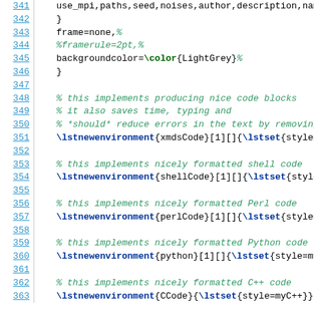341    use_mpi,paths,seed,noises,author,description,name
342    }
343    frame=none,%
344    %framerule=2pt,%
345    backgroundcolor=\color{LightGrey}%
346    }
347
348    % this implements producing nice code blocks
349    % it also saves time, typing and
350    % *should* reduce errors in the text by removing do
351    \lstnewenvironment{xmdsCode}[1][]{\lstset{style=myh
352
353    % this implements nicely formatted shell code
354    \lstnewenvironment{shellCode}[1][]{\lstset{style=my
355
356    % this implements nicely formatted Perl code
357    \lstnewenvironment{perlCode}[1][]{\lstset{style=myP
358
359    % this implements nicely formatted Python code
360    \lstnewenvironment{python}[1][]{\lstset{style=myPyt
361
362    % this implements nicely formatted C++ code
363    \lstnewenvironment{CCode}{\lstset{style=myC++}}{,}